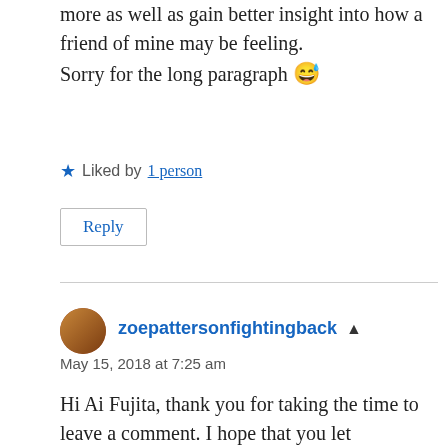more as well as gain better insight into how a friend of mine may be feeling.
Sorry for the long paragraph 😅
★ Liked by 1 person
Reply
zoepattersonfightingback ▲
May 15, 2018 at 7:25 am
Hi Ai Fujita, thank you for taking the time to leave a comment. I hope that you let absolutely nothing stand in the way of whatever it is you decide to do with your future. 👍